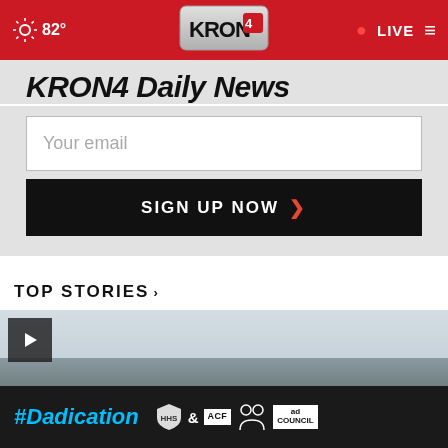82° KRON4 LIVE
KRON4 Daily News
Your email
SIGN UP NOW
TOP STORIES ›
[Figure (screenshot): Video thumbnail showing mountain landscape with play button]
[Figure (infographic): #Dadication ad banner with ACF and Ad Council logos]